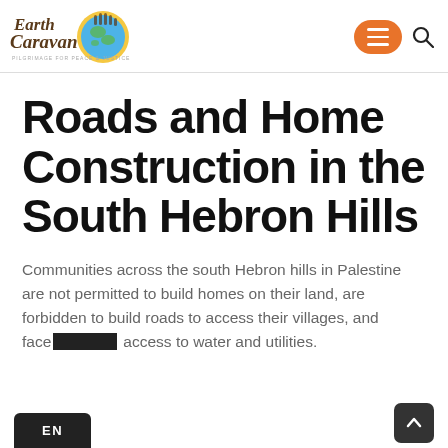Earth Caravan — PILGRIMAGE FOR PEACE & JUSTICE
Roads and Home Construction in the South Hebron Hills
Communities across the south Hebron hills in Palestine are not permitted to build homes on their land, are forbidden to build roads to access their villages, and face restricted access to water and utilities.